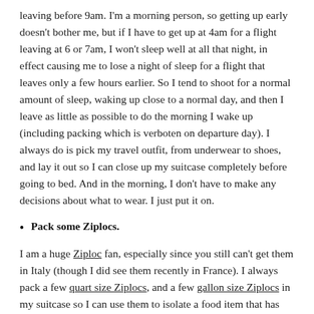leaving before 9am. I'm a morning person, so getting up early doesn't bother me, but if I have to get up at 4am for a flight leaving at 6 or 7am, I won't sleep well at all that night, in effect causing me to lose a night of sleep for a flight that leaves only a few hours earlier. So I tend to shoot for a normal amount of sleep, waking up close to a normal day, and then I leave as little as possible to do the morning I wake up (including packing which is verboten on departure day). I always do is pick my travel outfit, from underwear to shoes, and lay it out so I can close up my suitcase completely before going to bed. And in the morning, I don't have to make any decisions about what to wear. I just put it on.
Pack some Ziplocs.
I am a huge Ziploc fan, especially since you still can't get them in Italy (though I did see them recently in France). I always pack a few quart size Ziplocs, and a few gallon size Ziplocs in my suitcase so I can use them to isolate a food item that has the potential of spilling